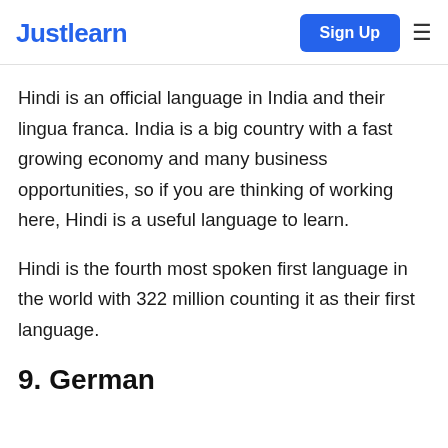Justlearn | Sign Up
Hindi is an official language in India and their lingua franca. India is a big country with a fast growing economy and many business opportunities, so if you are thinking of working here, Hindi is a useful language to learn.
Hindi is the fourth most spoken first language in the world with 322 million counting it as their first language.
9. German